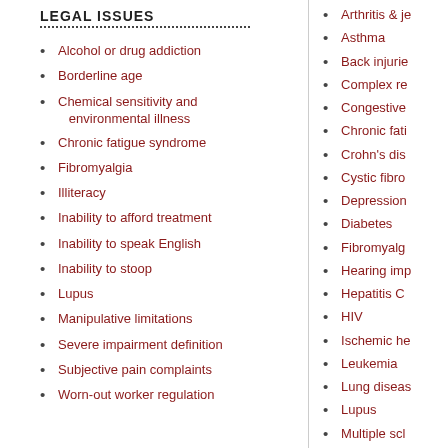LEGAL ISSUES
Alcohol or drug addiction
Borderline age
Chemical sensitivity and environmental illness
Chronic fatigue syndrome
Fibromyalgia
Illiteracy
Inability to afford treatment
Inability to speak English
Inability to stoop
Lupus
Manipulative limitations
Severe impairment definition
Subjective pain complaints
Worn-out worker regulation
Arthritis & je...
Asthma
Back injuries
Complex re...
Congestive...
Chronic fati...
Crohn's dis...
Cystic fibro...
Depression
Diabetes
Fibromyalg...
Hearing imp...
Hepatitis C
HIV
Ischemic he...
Leukemia
Lung diseas...
Lupus
Multiple scl...
Schizophre...
Soft tissue
Stroke